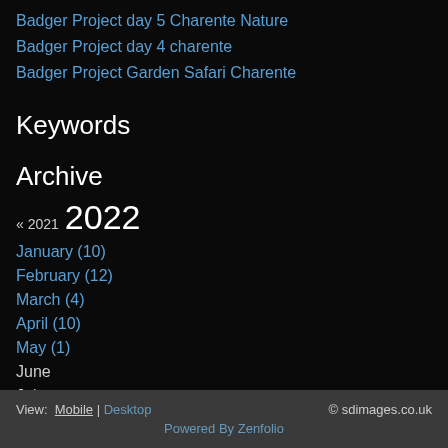Badger Project day 5 Charente Nature
Badger Project day 4 charente
Badger Project Garden Safari Charente
Keywords
Archive
« 2021 2022
January (10)
February (12)
March (4)
April (10)
May (1)
June
July
August
View: Mobile | Desktop  © sdimages.co.uk  Powered By Zenfolio